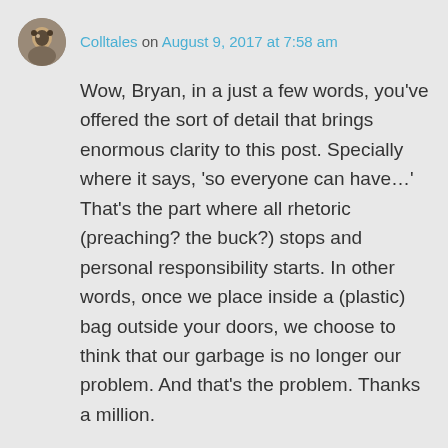Colltales on August 9, 2017 at 7:58 am
Wow, Bryan, in a just a few words, you’ve offered the sort of detail that brings enormous clarity to this post. Specially where it says, ‘so everyone can have…’ That’s the part where all rhetoric (preaching? the buck?) stops and personal responsibility starts. In other words, once we place inside a (plastic) bag outside your doors, we choose to think that our garbage is no longer our problem. And that’s the problem. Thanks a million.
Like
Reply